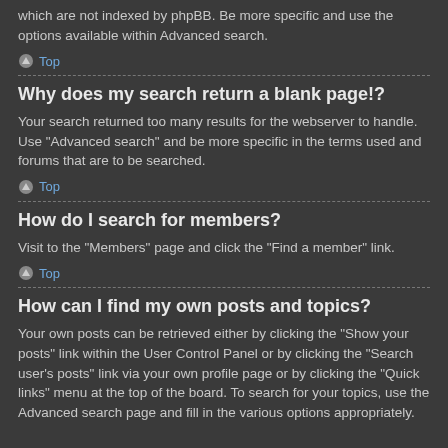which are not indexed by phpBB. Be more specific and use the options available within Advanced search.
Top
Why does my search return a blank page!?
Your search returned too many results for the webserver to handle. Use “Advanced search” and be more specific in the terms used and forums that are to be searched.
Top
How do I search for members?
Visit to the “Members” page and click the “Find a member” link.
Top
How can I find my own posts and topics?
Your own posts can be retrieved either by clicking the “Show your posts” link within the User Control Panel or by clicking the “Search user’s posts” link via your own profile page or by clicking the “Quick links” menu at the top of the board. To search for your topics, use the Advanced search page and fill in the various options appropriately.